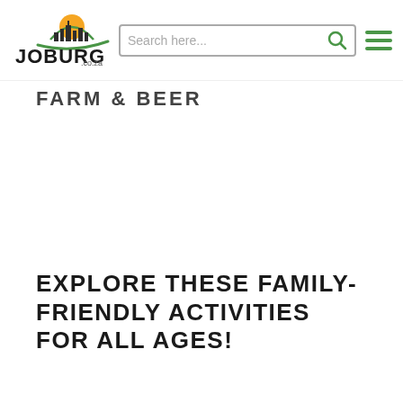[Figure (logo): Joburg.co.za logo with city skyline and sun illustration, stylized text reading JOBURG with .co.za]
[Figure (screenshot): Search bar with placeholder text 'Search here...' and a green search magnifying glass icon on the right]
[Figure (other): Green hamburger menu icon with three horizontal lines]
FARM & BEER
EXPLORE THESE FAMILY-FRIENDLY ACTIVITIES FOR ALL AGES!